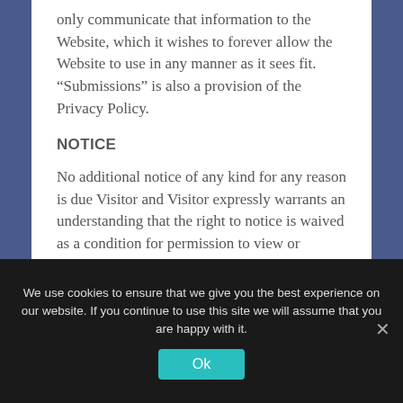only communicate that information to the Website, which it wishes to forever allow the Website to use in any manner as it sees fit. “Submissions” is also a provision of the Privacy Policy.
NOTICE
No additional notice of any kind for any reason is due Visitor and Visitor expressly warrants an understanding that the right to notice is waived as a condition for permission to view or interact with the website.
DISPUTES
We use cookies to ensure that we give you the best experience on our website. If you continue to use this site we will assume that you are happy with it.